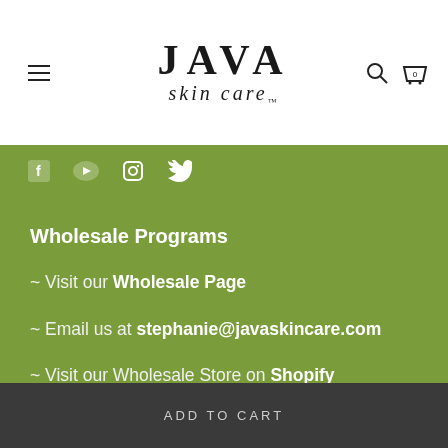JAVA skin care
Wholesale Programs
~ Visit our Wholesale Page
~ Email us at stephanie@javaskincare.com
~ Visit our Wholesale Store on Shopify Handshake
ADD TO CART